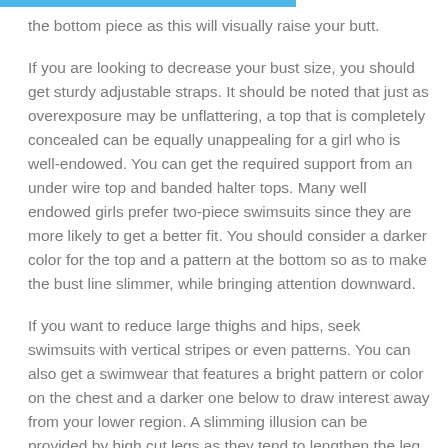the bottom piece as this will visually raise your butt.
If you are looking to decrease your bust size, you should get sturdy adjustable straps. It should be noted that just as overexposure may be unflattering, a top that is completely concealed can be equally unappealing for a girl who is well-endowed. You can get the required support from an under wire top and banded halter tops. Many well endowed girls prefer two-piece swimsuits since they are more likely to get a better fit. You should consider a darker color for the top and a pattern at the bottom so as to make the bust line slimmer, while bringing attention downward.
If you want to reduce large thighs and hips, seek swimsuits with vertical stripes or even patterns. You can also get a swimwear that features a bright pattern or color on the chest and a darker one below to draw interest away from your lower region. A slimming illusion can be provided by high cut legs as they tend to lengthen the leg line. You might also want to consider belted